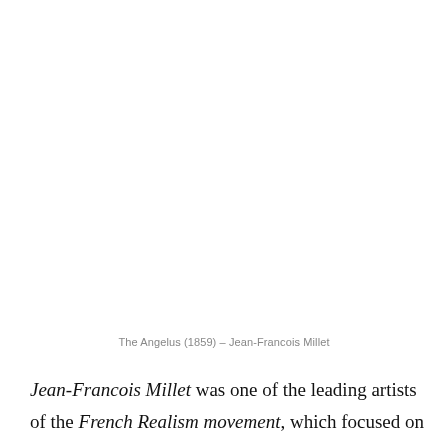The Angelus (1859) – Jean-Francois Millet
Jean-Francois Millet was one of the leading artists of the French Realism movement, which focused on